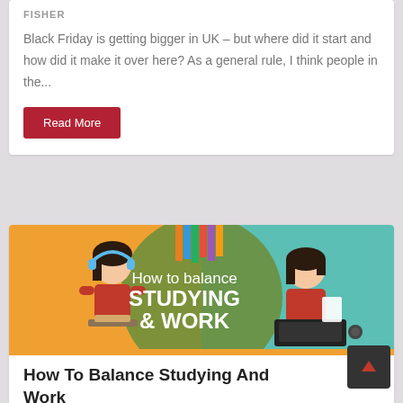FISHER
Black Friday is getting bigger in UK – but where did it start and how did it make it over here? As a general rule, I think people in the...
Read More
[Figure (illustration): Illustrated banner showing two female figures – one with headphones studying, one using a laptop – with text 'How to balance STUDYING & WORK' on a green circle background split between orange and teal.]
How To Balance Studying And Work